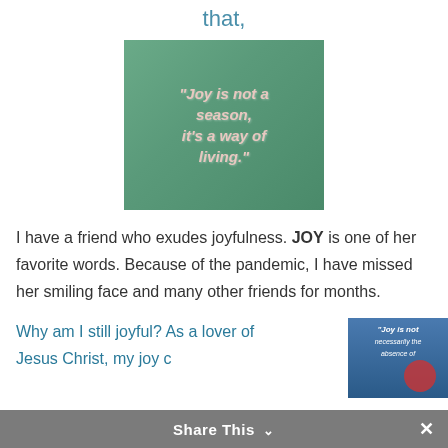that,
[Figure (illustration): Green background quote image with italic bold pinkish text reading: "Joy is not a season, it's a way of living."]
I have a friend who exudes joyfulness. JOY is one of her favorite words. Because of the pandemic, I have missed her smiling face and many other friends for months.
Why am I still joyful? As a lover of Jesus Christ, my joy c
[Figure (illustration): Partial image with text: "Joy is not necessarily the absence of"]
Share This